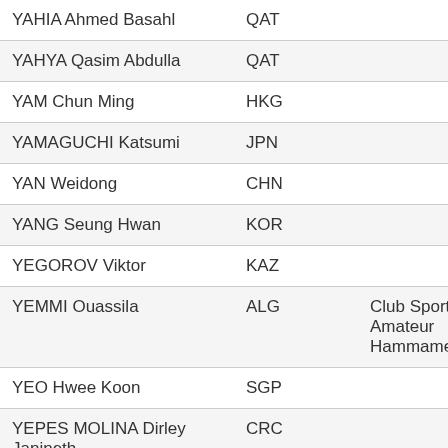| Name | Country | Club |
| --- | --- | --- |
| YAHIA Ahmed Basahl | QAT |  |
| YAHYA Qasim Abdulla | QAT |  |
| YAM Chun Ming | HKG |  |
| YAMAGUCHI Katsumi | JPN |  |
| YAN Weidong | CHN |  |
| YANG Seung Hwan | KOR |  |
| YEGOROV Viktor | KAZ |  |
| YEMMI Ouassila | ALG | Club Sportif Amateur Hammamet (AL... |
| YEO Hwee Koon | SGP |  |
| YEPES MOLINA Dirley Janineth | CRC |  |